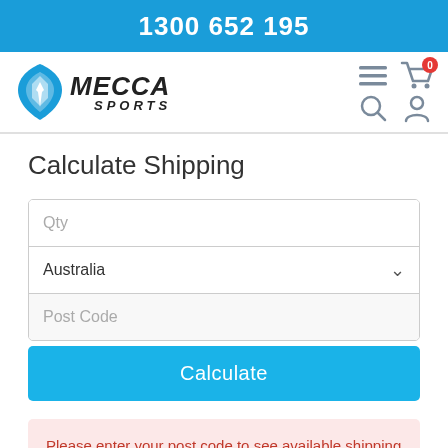1300 652 195
[Figure (logo): Mecca Sports logo with blue shield icon and bold italic text]
Calculate Shipping
Qty
Australia
Post Code
Calculate
Please enter your post code to see available shipping options. No shipping methods are available for the selected location.